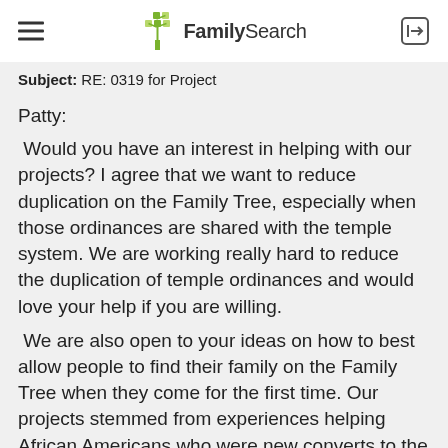FamilySearch
Subject: RE: 0319 for Project
Patty:
Would you have an interest in helping with our projects? I agree that we want to reduce duplication on the Family Tree, especially when those ordinances are shared with the temple system. We are working really hard to reduce the duplication of temple ordinances and would love your help if you are willing.
We are also open to your ideas on how to best allow people to find their family on the Family Tree when they come for the first time. Our projects stemmed from experiences helping African Americans who were new converts to the church. Their experience looking for their family on the Family Tree was very different than that for White individuals. This is what prompted much of our tree growth projects. We would love to